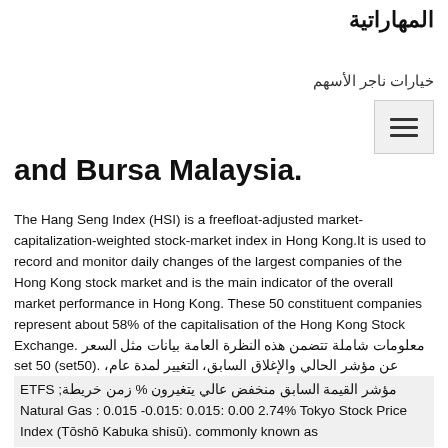المهاراتية
خيارات ناجر الأسهم
and Bursa Malaysia.
The Hang Seng Index (HSI) is a freefloat-adjusted market-capitalization-weighted stock-market index in Hong Kong.It is used to record and monitor daily changes of the largest companies of the Hong Kong stock market and is the main indicator of the overall market performance in Hong Kong. These 50 constituent companies represent about 58% of the capitalisation of the Hong Kong Stock Exchange. معلومات شاملة تتضمن هذه النظرة العامة بيانات مثل السعر set 50 (set50). عن مؤشر الحالي والإغلاق السابق، التغيير لمدة عام، الحجم والمزيد.
ETFS ;مؤشر القيمة السابق منخفض عالي يتغيرون % زمن خريطة Natural Gas : 0.015 -0.015: 0.015: 0.00 2.74% Tokyo Stock Price Index ( Tōshō Kabuka shisū). commonly known as